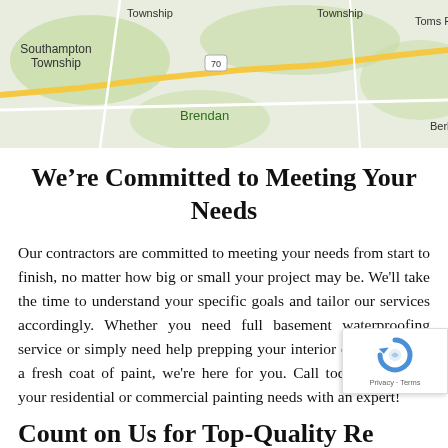[Figure (map): Google Maps screenshot showing Southampton Township, Brendan, Township labels, route 70, Toms R(iver) and Berk(eley) text visible on a road map with green areas]
We're Committed to Meeting Your Needs
Our contractors are committed to meeting your needs from start to finish, no matter how big or small your project may be. We'll take the time to understand your specific goals and tailor our services accordingly. Whether you need full basement waterproofing service or simply need help prepping your interior or exterior for a fresh coat of paint, we're here for you. Call today to discuss your residential or commercial painting needs with an expert!
Count on Us for Top-Quality Re…